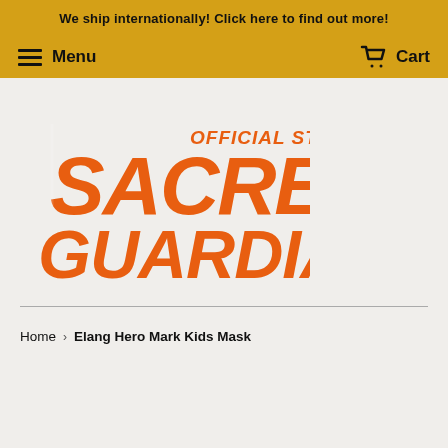We ship internationally! Click here to find out more!
Menu | Cart
[Figure (logo): Sacred Guardians Official Store logo in orange with stylized text on light grey background]
Home › Elang Hero Mark Kids Mask